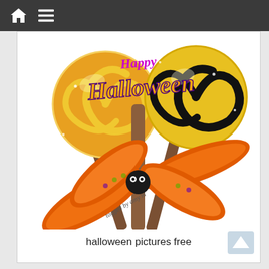[Figure (illustration): Halloween lollipop graphic with orange/yellow swirl and black/yellow swirl lollipops, crossed sticks tied with an orange decorative ribbon bow with Halloween pattern, 'Happy Halloween' text in purple and gold, tagged by amy m watermark]
halloween pictures free